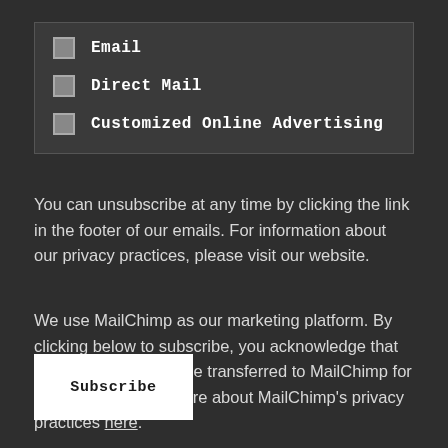Email
Direct Mail
Customized Online Advertising
You can unsubscribe at any time by clicking the link in the footer of our emails. For information about our privacy practices, please visit our website.
We use MailChimp as our marketing platform. By clicking below to subscribe, you acknowledge that your information will be transferred to MailChimp for processing. Learn more about MailChimp's privacy practices here.
Subscribe